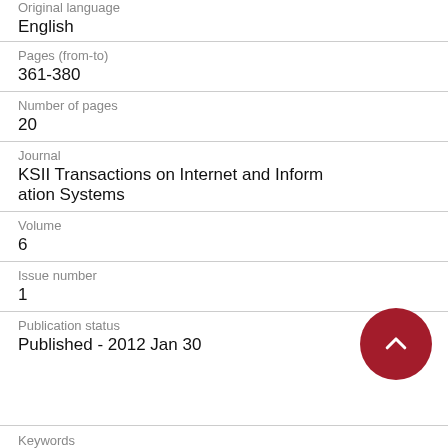Original language
English
Pages (from-to)
361-380
Number of pages
20
Journal
KSII Transactions on Internet and Information Systems
Volume
6
Issue number
1
Publication status
Published - 2012 Jan 30
Keywords